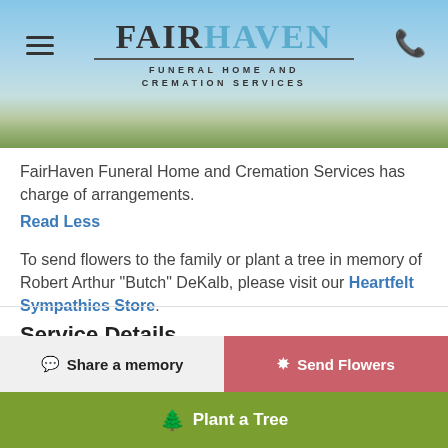[Figure (logo): FairHaven Funeral Home and Cremation Services logo with scenic landscape header banner]
FairHaven Funeral Home and Cremation Services has charge of arrangements.
Read Less
To send flowers to the family or plant a tree in memory of Robert Arthur "Butch" DeKalb, please visit our Heartfelt Sympathies Store.
Service Details
Visitation
Share a memory
Send Flowers
Plant a Tree